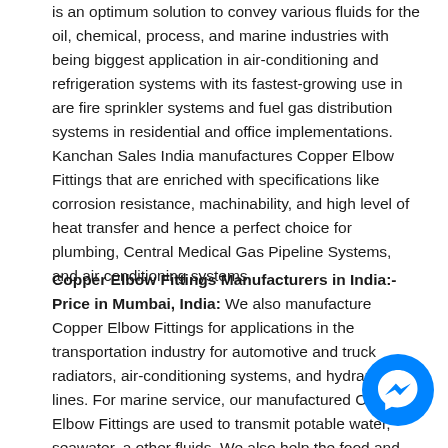is an optimum solution to convey various fluids for the oil, chemical, process, and marine industries with being biggest application in air-conditioning and refrigeration systems with its fastest-growing use in are fire sprinkler systems and fuel gas distribution systems in residential and office implementations. Kanchan Sales India manufactures Copper Elbow Fittings that are enriched with specifications like corrosion resistance, machinability, and high level of heat transfer and hence a perfect choice for plumbing, Central Medical Gas Pipeline Systems, and air conditioning systems.
Copper Elbow Fittings Manufacturers in India:- Price in Mumbai, India:
We also manufacture Copper Elbow Fittings for applications in the transportation industry for automotive and truck radiators, air-conditioning systems, and hydraulic lines. For marine service, our manufactured Copper Elbow Fittings are used to transmit potable water, seawater, and other fluids. We also help the food and beverage industry by providing our Copper Elbow Fittings to easily process fluids for cane sugar refining and other food processing
[Figure (other): Facebook Messenger chat button (blue circle with white lightning bolt/messenger icon) overlaid on bottom-right of page]